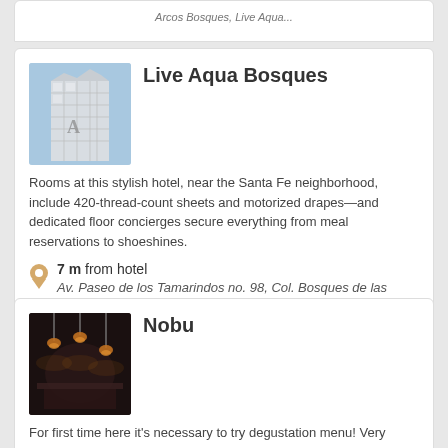Arcos Bosques, Live Aqua...
Live Aqua Bosques
[Figure (photo): Exterior photo of Live Aqua Bosques hotel building, white tower with geometric facade against blue sky]
Rooms at this stylish hotel, near the Santa Fe neighborhood, include 420-thread-count sheets and motorized drapes—and dedicated floor concierges secure everything from meal reservations to shoeshines.
7 m from hotel
Av. Paseo de los Tamarindos no. 98, Col. Bosques de las Lomas, Cuajimalpa de Morelos
Nobu
[Figure (photo): Interior photo of Nobu restaurant, dark moody lighting with hanging lamp fixtures]
For first time here it's necessary to try degustation menu! Very interesting & tasty!
61 m from hotel
Paseo Arcos Bosques